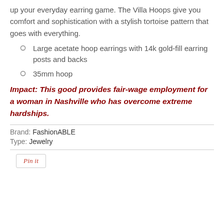up your everyday earring game. The Villa Hoops give you comfort and sophistication with a stylish tortoise pattern that goes with everything.
Large acetate hoop earrings with 14k gold-fill earring posts and backs
35mm hoop
Impact: This good provides fair-wage employment for a woman in Nashville who has overcome extreme hardships.
Type: Jewelry
Brand: FashionABLE